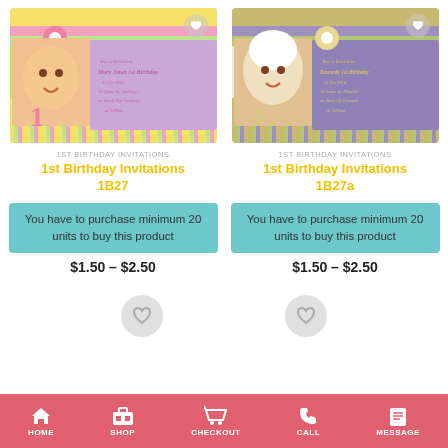[Figure (photo): 1st Birthday Invitations 1B27 - pink themed baby/toddler birthday invitation card with pink flower, yellow and green stripes, baby photo]
1ST BIRTHDAY INVITATIONS
1st Birthday Invitations 1B27
You have to purchase minimum 20 units to buy this product
$1.50 – $2.50
[Figure (photo): 1st Birthday Invitations 1B27a - purple themed baby/toddler birthday invitation card with cream flower, gold and green stripes, baby photo]
1ST BIRTHDAY INVITATIONS
1st Birthday Invitations 1B27a
You have to purchase minimum 20 units to buy this product
$1.50 – $2.50
HOME  SHOP  CHECKOUT  CALL  MESSAGE